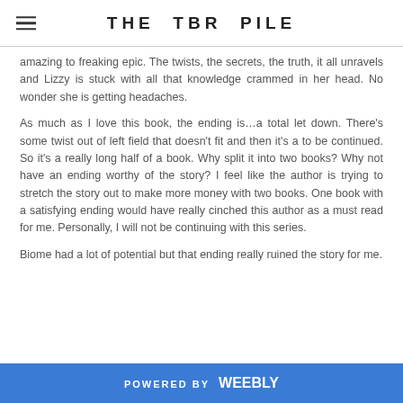THE TBR PILE
amazing to freaking epic. The twists, the secrets, the truth, it all unravels and Lizzy is stuck with all that knowledge crammed in her head. No wonder she is getting headaches.
As much as I love this book, the ending is…a total let down. There's some twist out of left field that doesn't fit and then it's a to be continued. So it's a really long half of a book. Why split it into two books? Why not have an ending worthy of the story? I feel like the author is trying to stretch the story out to make more money with two books. One book with a satisfying ending would have really cinched this author as a must read for me. Personally, I will not be continuing with this series.
Biome had a lot of potential but that ending really ruined the story for me.
POWERED BY weebly